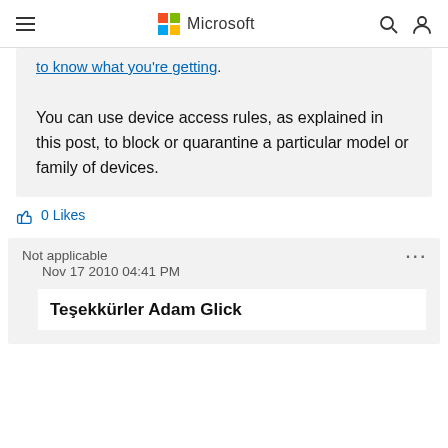Microsoft
to know what you're getting.
You can use device access rules, as explained in this post, to block or quarantine a particular model or family of devices.
0 Likes
Not applicable
Nov 17 2010 04:41 PM
Teşekkürler Adam Glick